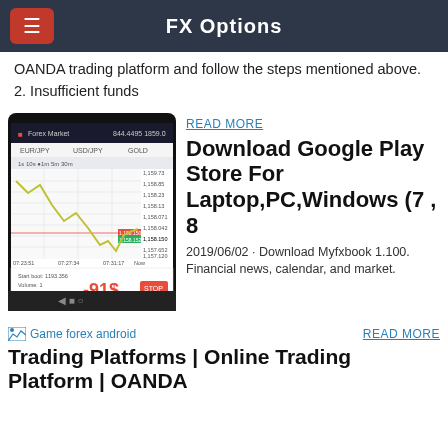FX Options
OANDA trading platform and follow the steps mentioned above. 2. Insufficient funds
[Figure (screenshot): Mobile trading app screenshot showing a forex chart with a line graph, currency pair data, and a trade showing -91$ loss in red, with a Stop button.]
READ MORE
Download Google Play Store For Laptop,PC,Windows (7 , 8
2019/06/02 · Download Myfxbook 1.100.
Financial news, calendar, and market.
[Figure (screenshot): Broken image placeholder labeled 'Game forex android']
READ MORE
Trading Platforms | Online Trading Platform | OANDA